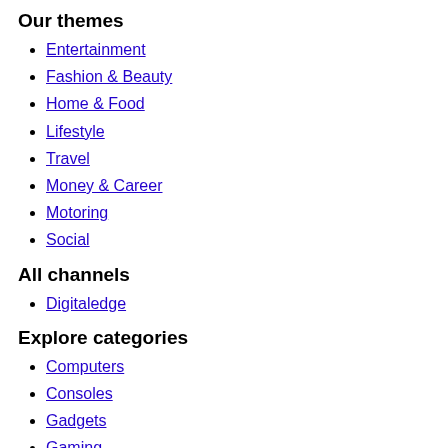Our themes
Entertainment
Fashion & Beauty
Home & Food
Lifestyle
Travel
Money & Career
Motoring
Social
All channels
Digitaledge
Explore categories
Computers
Consoles
Gadgets
Gaming
Internet
Music